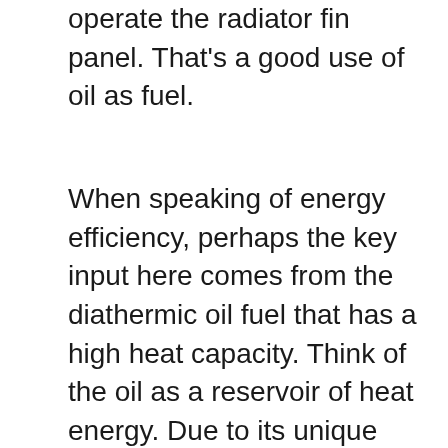operate the radiator fin panel. That's a good use of oil as fuel.
When speaking of energy efficiency, perhaps the key input here comes from the diathermic oil fuel that has a high heat capacity. Think of the oil as a reservoir of heat energy. Due to its unique chemical properties, it needs to absorb heat for long periods of time before its own temperature rises by one degree. Hence, when the oil gets warmed up, it retains its temperature. In other words, your oil-filled heater is going to be able to emit heat long after you have shut it down. This way, you can save up on the cost of bills because the electricity-consuming resistors positioned inside the